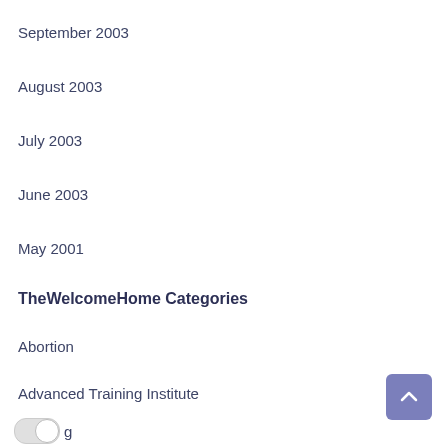September 2003
August 2003
July 2003
June 2003
May 2001
TheWelcomeHome Categories
Abortion
Advanced Training Institute
g